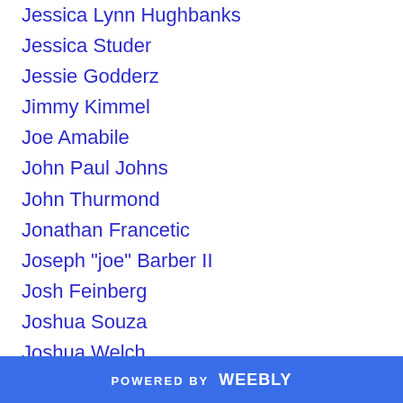Jessica Lynn Hughbanks
Jessica Studer
Jessie Godderz
Jimmy Kimmel
Joe Amabile
John Paul Johns
John Thurmond
Jonathan Francetic
Joseph "joe" Barber II
Josh Feinberg
Joshua Souza
Joshua Welch
Jr.
Jun Song
Justin Giovinco
Justin Schils
POWERED BY weebly